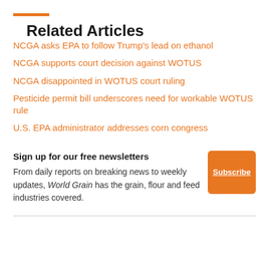Related Articles
NCGA asks EPA to follow Trump's lead on ethanol
NCGA supports court decision against WOTUS
NCGA disappointed in WOTUS court ruling
Pesticide permit bill underscores need for workable WOTUS rule
U.S. EPA administrator addresses corn congress
Sign up for our free newsletters
From daily reports on breaking news to weekly updates, World Grain has the grain, flour and feed industries covered.